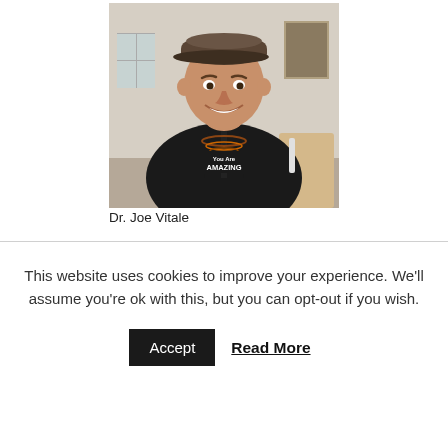[Figure (photo): Photo of a smiling middle-aged man wearing a dark flat cap, black jacket with red trim, and a black t-shirt reading 'You Are AMAZING', with beaded necklaces.]
Dr. Joe Vitale
This website uses cookies to improve your experience. We'll assume you're ok with this, but you can opt-out if you wish.
Accept   Read More